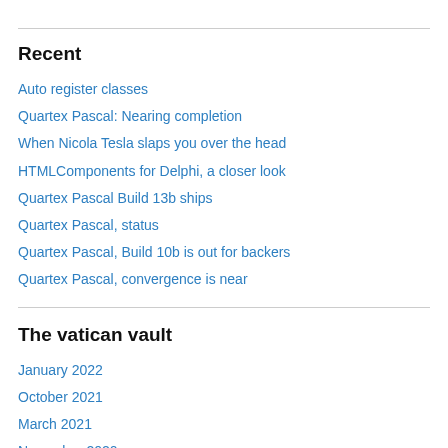Recent
Auto register classes
Quartex Pascal: Nearing completion
When Nicola Tesla slaps you over the head
HTMLComponents for Delphi, a closer look
Quartex Pascal Build 13b ships
Quartex Pascal, status
Quartex Pascal, Build 10b is out for backers
Quartex Pascal, convergence is near
The vatican vault
January 2022
October 2021
March 2021
November 2020